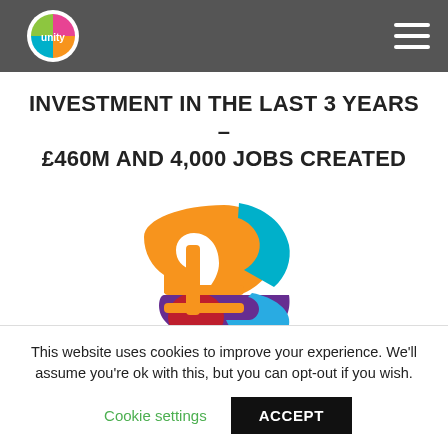Unity | Navigation bar with logo and hamburger menu
INVESTMENT IN THE LAST 3 YEARS – £460M AND 4,000 JOBS CREATED
[Figure (logo): Colourful pound sign illustration made of overlapping shapes in orange, teal, purple, red, and blue forming a stylised £ symbol]
£5.2 BILLION ECONOMY
This website uses cookies to improve your experience. We'll assume you're ok with this, but you can opt-out if you wish.
Cookie settings   ACCEPT